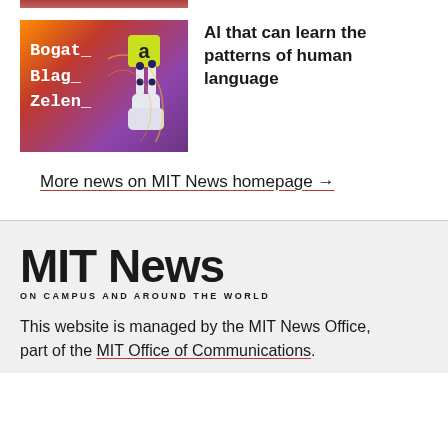[Figure (photo): Partial thumbnail image visible at very top of page (cropped)]
[Figure (illustration): Colorful image with robotic hand holding letter 'a' tile, text reads 'Bogat_ Blag_ Zelen_' on gradient purple/orange background]
AI that can learn the patterns of human language
More news on MIT News homepage →
[Figure (logo): MIT News logo with tagline ON CAMPUS AND AROUND THE WORLD]
This website is managed by the MIT News Office, part of the MIT Office of Communications.